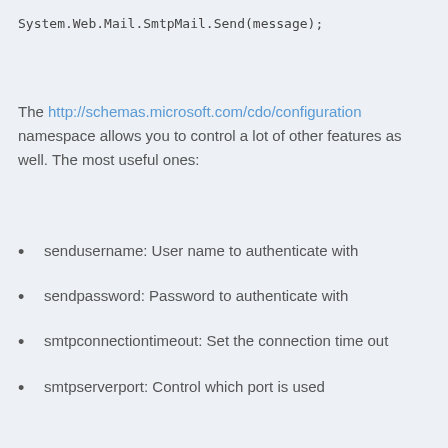System.Web.Mail.SmtpMail.Send(message);
The http://schemas.microsoft.com/cdo/configuration namespace allows you to control a lot of other features as well. The most useful ones:
sendusername: User name to authenticate with
sendpassword: Password to authenticate with
smtpconnectiontimeout: Set the connection time out
smtpserverport: Control which port is used